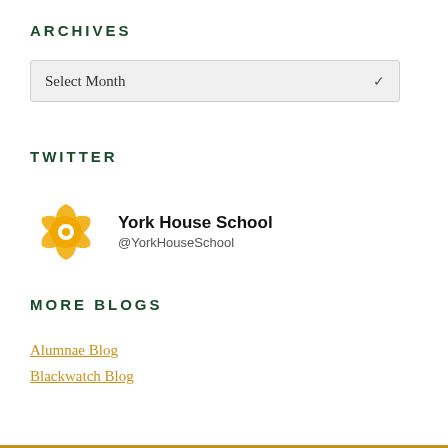ARCHIVES
Select Month
TWITTER
[Figure (logo): York House School Twitter logo — a golden flower/gear shaped emblem]
York House School
@YorkHouseSchool
MORE BLOGS
Alumnae Blog
Blackwatch Blog